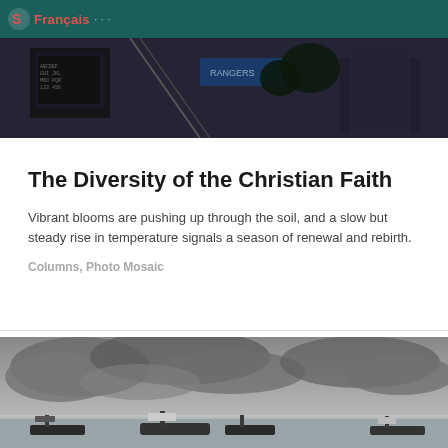Français · · ·
[Figure (photo): Dark street scene photo with signage visible, nighttime urban setting]
The Diversity of the Christian Faith
Vibrant blooms are pushing up through the soil, and a slow but steady rise in temperature signals a season of renewal and rebirth.
Columns, Photo Mosaic
[Figure (photo): Boats moored on calm water under overcast cloudy grey sky]